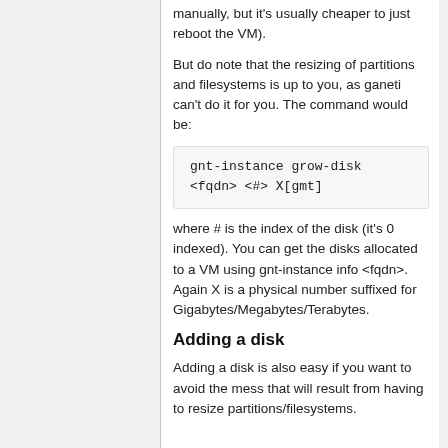manually, but it's usually cheaper to just reboot the VM).
But do note that the resizing of partitions and filesystems is up to you, as ganeti can't do it for you. The command would be:
gnt-instance grow-disk <fqdn> <#> X[gmt]
where # is the index of the disk (it's 0 indexed). You can get the disks allocated to a VM using gnt-instance info <fqdn>. Again X is a physical number suffixed for Gigabytes/Megabytes/Terabytes.
Adding a disk
Adding a disk is also easy if you want to avoid the mess that will result from having to resize partitions/filesystems.